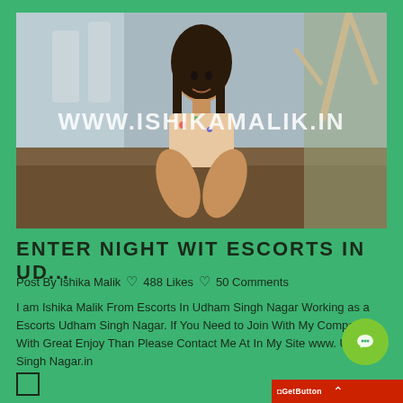[Figure (photo): Photo of a young woman sitting on a table in a kitchen/indoor setting with a watermark text 'WWW.ISHIKAMALIK.IN' overlaid]
ENTER NIGHT WIT ESCORTS IN UD...
Post By Ishika Malik  488 Likes  50 Comments
I am Ishika Malik From Escorts In Udham Singh Nagar Working as a Escorts Udham Singh Nagar. If You Need to Join With My Company With Great Enjoy Than Please Contact Me At In My Site www. Udham Singh Nagar.in